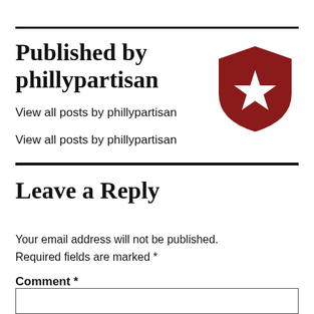Published by phillypartisan
View all posts by phillypartisan
[Figure (logo): Red shield icon with a white star in the center]
Leave a Reply
Your email address will not be published. Required fields are marked *
Comment *